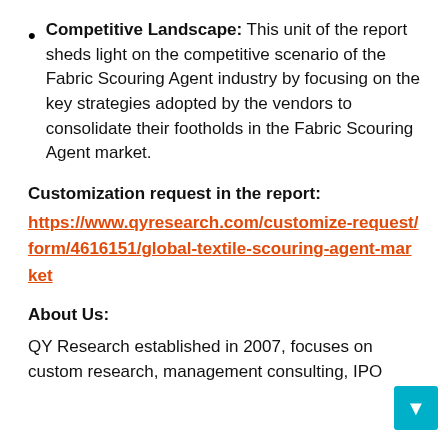Competitive Landscape: This unit of the report sheds light on the competitive scenario of the Fabric Scouring Agent industry by focusing on the key strategies adopted by the vendors to consolidate their footholds in the Fabric Scouring Agent market.
Customization request in the report:
https://www.qyresearch.com/customize-request/form/4616151/global-textile-scouring-agent-market
About Us:
QY Research established in 2007, focuses on custom research, management consulting, IPO